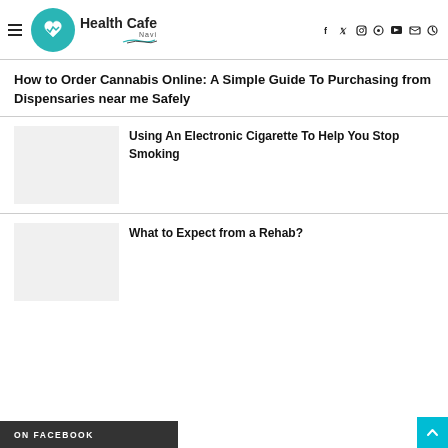Health Cafe Navi
How to Order Cannabis Online: A Simple Guide To Purchasing from Dispensaries near me Safely
[Figure (photo): Placeholder thumbnail image for article about electronic cigarettes]
Using An Electronic Cigarette To Help You Stop Smoking
[Figure (photo): Placeholder thumbnail image for article about rehab]
What to Expect from a Rehab?
ON FACEBOOK